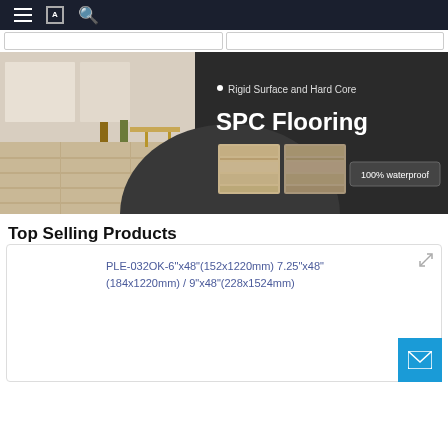Navigation bar with hamburger menu, document icon, and search icon
[Figure (screenshot): Two search/filter bar inputs side by side at the top of the page]
[Figure (photo): SPC Flooring banner image. Left half shows a kitchen/dining room with light wood SPC flooring, bar stools, and modern furniture. Right half is a dark charcoal background with text: '• Rigid Surface and Hard Core', large bold white text 'SPC Flooring', two wood-look flooring sample swatches, and a button reading '100% waterproof'.]
Top Selling Products
[Figure (photo): Product thumbnail showing light oak wood-effect SPC flooring planks]
PLE-032OK-6"x48"(152x1220mm) 7.25"x48"(184x1220mm) / 9"x48"(228x1524mm)